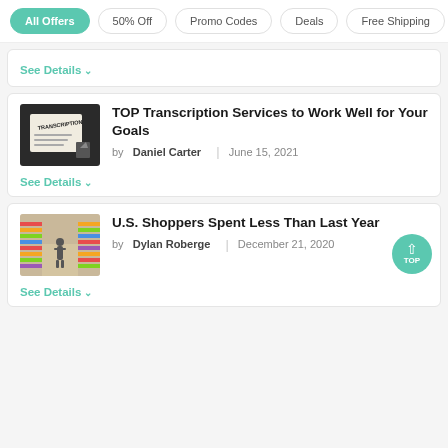All Offers | 50% Off | Promo Codes | Deals | Free Shipping
See Details
TOP Transcription Services to Work Well for Your Goals
by Daniel Carter | June 15, 2021
See Details
U.S. Shoppers Spent Less Than Last Year
by Dylan Roberge | December 21, 2020
See Details